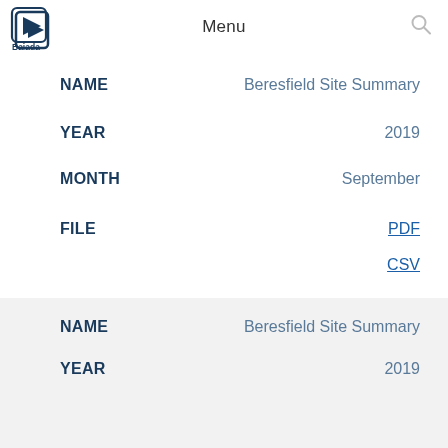Menu
| Field | Value |
| --- | --- |
| NAME | Beresfield Site Summary |
| YEAR | 2019 |
| MONTH | September |
| FILE | PDF
CSV |
| Field | Value |
| --- | --- |
| NAME | Beresfield Site Summary |
| YEAR | 2019 |